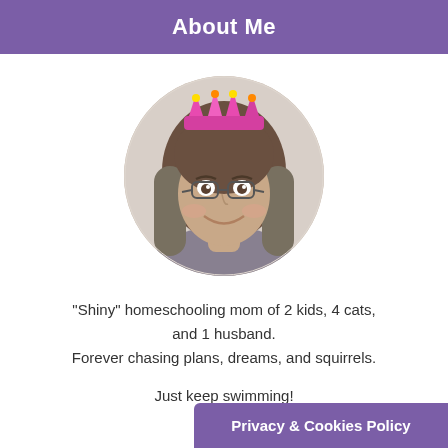About Me
[Figure (photo): Circular profile photo of a woman with long gray-brown hair, glasses, and a colorful birthday crown/tiara headpiece, smiling at the camera.]
"Shiny" homeschooling mom of 2 kids, 4 cats, and 1 husband.
Forever chasing plans, dreams, and squirrels.
Just keep swimming!
Privacy & Cookies Policy